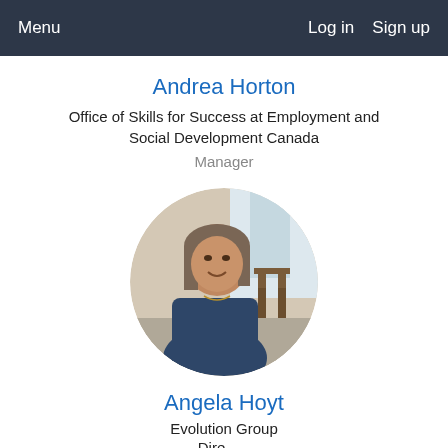Menu    Log in   Sign up
Andrea Horton
Office of Skills for Success at Employment and Social Development Canada
Manager
[Figure (photo): Circular profile photo of a woman with shoulder-length hair, smiling, wearing a dark blue shirt, standing in a room with wooden chairs in the background.]
Angela Hoyt
Evolution Group
Director